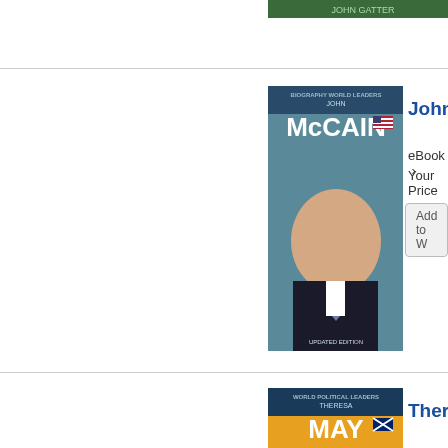[Figure (photo): Book cover for John McCain - World Political Leaders eBook, showing photo of John McCain in suit against teal background]
John Mc
eBook ›
Your Price
Add to W
[Figure (photo): Book cover for Theresa May - World Political Leaders eBook, showing photo of Theresa May against orange background]
Theresa
eBook ›
Your Price
Add to W
[Figure (photo): Book cover for Emmanuel Macron - World Political Leaders eBook, showing photo of Macron with French flag]
Emmanu
eBook ›
Your Price